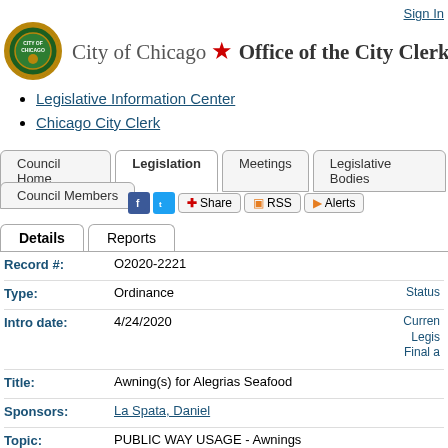Sign In
City of Chicago ★ Office of the City Clerk
Legislative Information Center
Chicago City Clerk
Council Home | Legislation | Meetings | Legislative Bodies | Council Members
Share RSS Alerts
Details | Reports
| Field | Value | Right |
| --- | --- | --- |
| Record #: | O2020-2221 |  |
| Type: | Ordinance | Status |
| Intro date: | 4/24/2020 | Current Legisl... / Final a... |
| Title: | Awning(s) for Alegrias Seafood |  |
| Sponsors: | La Spata, Daniel |  |
| Topic: | PUBLIC WAY USAGE - Awnings |  |
| Attachments: | 1. O2020-2221.pdf |  |